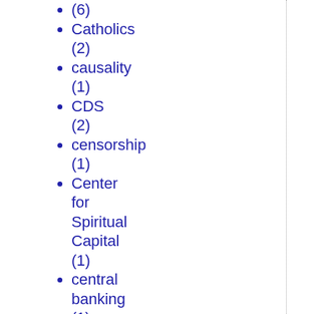(6)
Catholics (2)
causality (1)
CDS (2)
censorship (1)
Center for Spiritual Capital (1)
central banking (1)
certainty (1)
Charity (2)
charity (1)
charter school